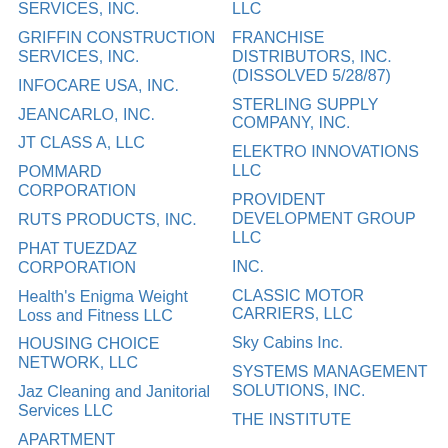SERVICES, INC.
GRIFFIN CONSTRUCTION SERVICES, INC.
INFOCARE USA, INC.
JEANCARLO, INC.
JT CLASS A, LLC
POMMARD CORPORATION
RUTS PRODUCTS, INC.
PHAT TUEZDAZ CORPORATION
Health's Enigma Weight Loss and Fitness LLC
HOUSING CHOICE NETWORK, LLC
Jaz Cleaning and Janitorial Services LLC
APARTMENT
LLC
FRANCHISE DISTRIBUTORS, INC. (DISSOLVED 5/28/87)
STERLING SUPPLY COMPANY, INC.
ELEKTRO INNOVATIONS LLC
PROVIDENT DEVELOPMENT GROUP LLC
INC.
CLASSIC MOTOR CARRIERS, LLC
Sky Cabins Inc.
SYSTEMS MANAGEMENT SOLUTIONS, INC.
THE INSTITUTE